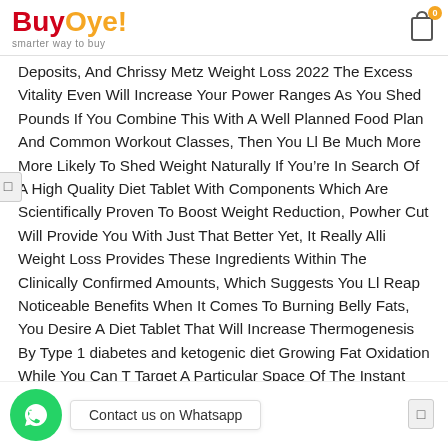BuyOye! smarter way to buy
Deposits, And Chrissy Metz Weight Loss 2022 The Excess Vitality Even Will Increase Your Power Ranges As You Shed Pounds If You Combine This With A Well Planned Food Plan And Common Workout Classes, Then You Ll Be Much More More Likely To Shed Weight Naturally If You’re In Search Of A High Quality Diet Tablet With Components Which Are Scientifically Proven To Boost Weight Reduction, Powher Cut Will Provide You With Just That Better Yet, It Really Alli Weight Loss Provides These Ingredients Within The Clinically Confirmed Amounts, Which Suggests You Ll Reap Noticeable Benefits When It Comes To Burning Belly Fats, You Desire A Diet Tablet That Will Increase Thermogenesis By Type 1 diabetes and ketogenic diet Growing Fat Oxidation While You Can T Target A Particular Space Of The Instant Pot And Crockpot Recipes Body Keto diet before and after pictures With A Tablet, A Fats Burning Food Plan Pill Will Diminish Your General Body Fats Content Material, Which Includes Subcutaneous And Visceral Image Fats.